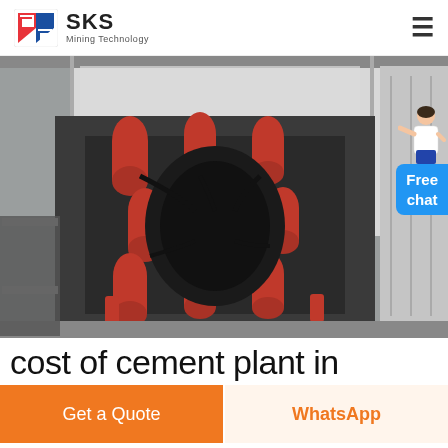SKS Mining Technology
[Figure (photo): Industrial mining/cement plant machine with red and black components, photographed in a warehouse/factory setting.]
cost of cement plant in
Get a Quote
WhatsApp